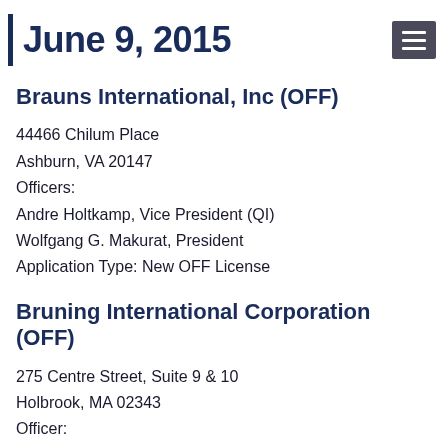June 9, 2015
Brauns International, Inc (OFF)
44466 Chilum Place
Ashburn, VA 20147
Officers:
Andre Holtkamp, Vice President (QI)
Wolfgang G. Makurat, President
Application Type: New OFF License
Bruning International Corporation (OFF)
275 Centre Street, Suite 9 & 10
Holbrook, MA 02343
Officer:
Dennis F. Bruning, President (QI)
Application Type: QI Change